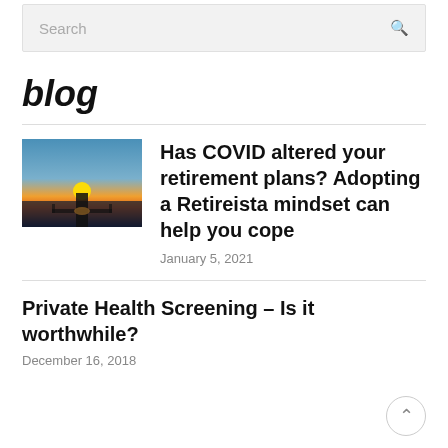[Figure (screenshot): Search bar with placeholder text 'Search' and magnifying glass icon on grey background]
blog
[Figure (photo): Sunset photo over a pier/boardwalk with orange sun low on horizon and dark silhouette of dock and water]
Has COVID altered your retirement plans? Adopting a Retireista mindset can help you cope
January 5, 2021
Private Health Screening – Is it worthwhile?
December 16, 2018